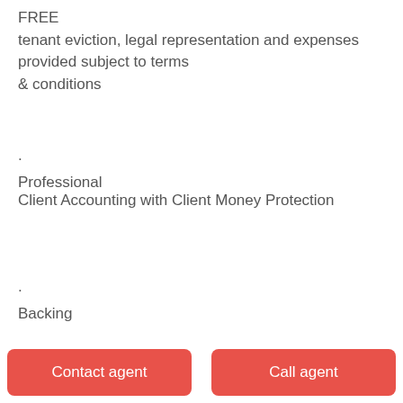FREE tenant eviction, legal representation and expenses provided subject to terms & conditions
·
Professional
Client Accounting with Client Money Protection
·
Backing
Contact agent
Call agent